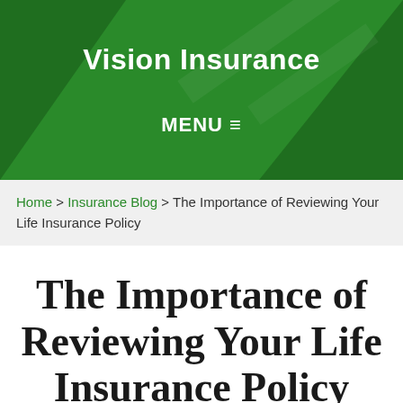Vision Insurance
MENU ≡
Home > Insurance Blog > The Importance of Reviewing Your Life Insurance Policy
The Importance of Reviewing Your Life Insurance Policy